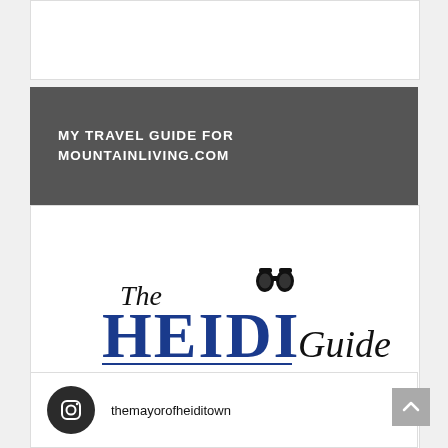MY TRAVEL GUIDE FOR MOUNTAINLIVING.COM
[Figure (logo): The Heidi Guide logo with binoculars icon, featuring serif 'The' text, large bold blue 'HEIDI' letters, and italic script 'Guide' text]
themayorofheiditown